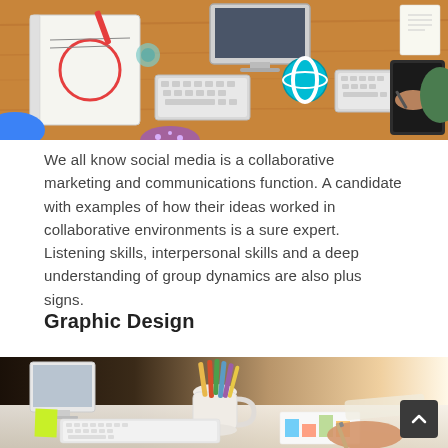[Figure (photo): Top-down view of people working at a wooden desk with computers, keyboards, mouse, and open notebooks/sketchbooks with illustrations]
We all know social media is a collaborative marketing and communications function. A candidate with examples of how their ideas worked in collaborative environments is a sure expert. Listening skills, interpersonal skills and a deep understanding of group dynamics are also plus signs.
Graphic Design
[Figure (photo): A person at a design desk with a white computer monitor, mug with colored pencils, keyboard, yellow sticky note, and colorful design charts, working under warm glowing light]